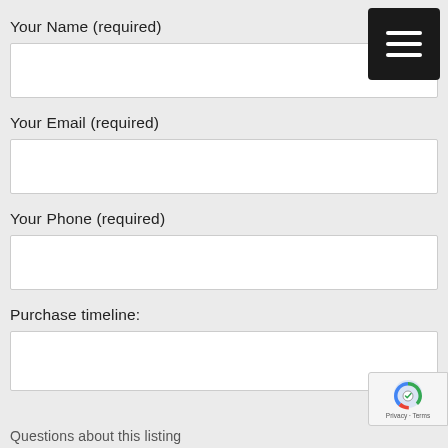Your Name (required)
Your Email (required)
Your Phone (required)
Purchase timeline:
Questions about this listing